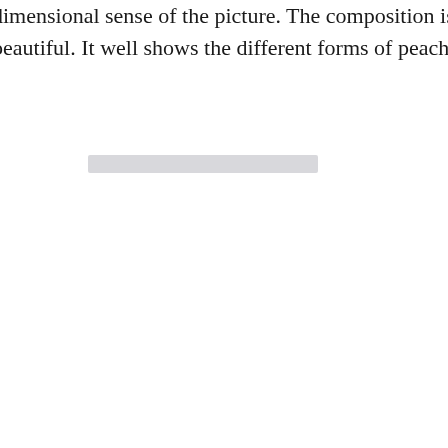dimensional sense of the picture. The composition is dense and elegan beautiful. It well shows the different forms of peach flowers and the Y
[Figure (other): A faint horizontal gray bar placeholder representing an image]